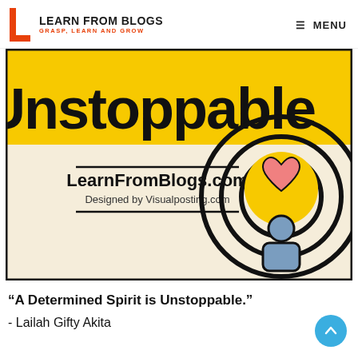LEARN FROM BLOGS — GRASP, LEARN AND GROW | MENU
[Figure (illustration): Infographic with yellow top band reading 'Unstoppable' in large black bold text, cream/beige lower section with 'LearnFromBlogs.com' and 'Designed by Visualposting.com' text on left, and a circular maze/target icon with a heart in center and a human figure silhouette below on the right.]
“A Determined Spirit is Unstoppable.”
- Lailah Gifty Akita